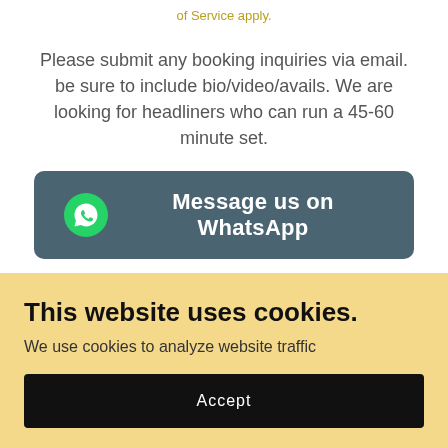of Service apply.
Please submit any booking inquiries via email. be sure to include bio/video/avails. We are looking for headliners who can run a 45-60 minute set.
[Figure (other): Dark teal rounded button with WhatsApp logo icon and text 'Message us on WhatsApp']
This website uses cookies.
We use cookies to analyze website traffic
Accept